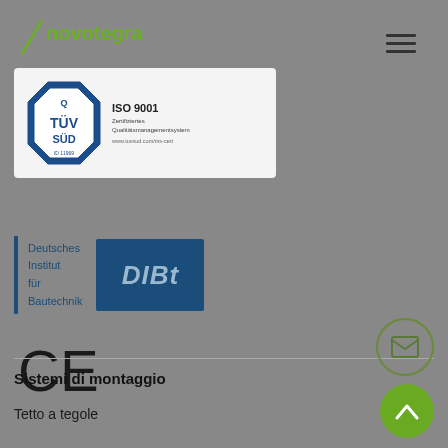[Figure (logo): novotegra brand logo in green text with a diagonal slash accent]
[Figure (logo): TÜV SÜD ISO 9001 certification badge — octagonal blue TÜV SÜD logo on left, ISO 9001 text and Zertifiziertes Qualitätsmanagementsystem on right, white background card]
[Figure (logo): DIBt (Deutsches Institut für Bautechnik) logo — blue vertical bar on left, text 'Deutsches Institut für Bautechnik', dark blue box with 'DIBt' in large italic letters]
[Figure (logo): CE marking symbol in large black text]
[Figure (illustration): Circular mail/envelope icon button with olive green border]
[Figure (illustration): Circular up-arrow button with green fill]
Sistemi di montaggio
Tetto a tegole